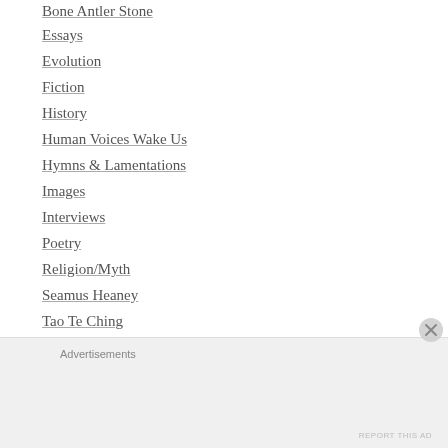Bone Antler Stone
Essays
Evolution
Fiction
History
Human Voices Wake Us
Hymns & Lamentations
Images
Interviews
Poetry
Religion/Myth
Seamus Heaney
Tao Te Ching
The Great Myths
The Lonely Young & the Lonely Old
Advertisements
REPORT THIS AD